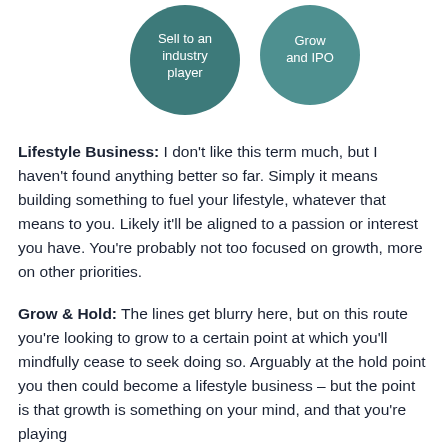[Figure (infographic): Two teal circular buttons side by side: left circle labeled 'Sell to an industry player', right circle labeled 'Grow and IPO']
Lifestyle Business: I don't like this term much, but I haven't found anything better so far. Simply it means building something to fuel your lifestyle, whatever that means to you. Likely it'll be aligned to a passion or interest you have. You're probably not too focused on growth, more on other priorities.
Grow & Hold: The lines get blurry here, but on this route you're looking to grow to a certain point at which you'll mindfully cease to seek doing so. Arguably at the hold point you then could become a lifestyle business – but the point is that growth is something on your mind, and that you're playing